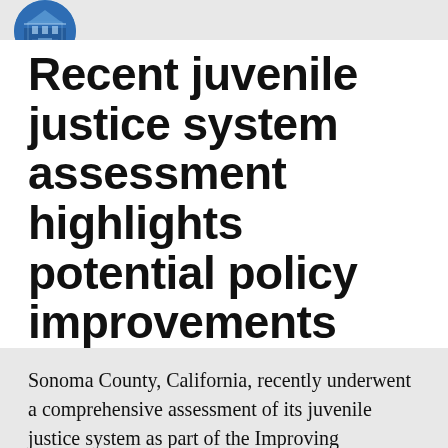[Figure (logo): CSG Justice Center circular logo with blue background and building/institution illustration]
Recent juvenile justice system assessment highlights potential policy improvements
By CSG Justice Center Staff
MARCH 27, 2020
Sonoma County, California, recently underwent a comprehensive assessment of its juvenile justice system as part of the Improving